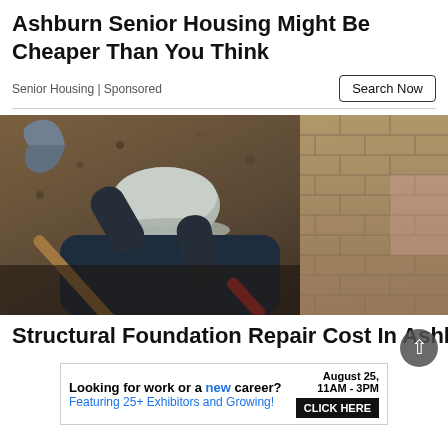Ashburn Senior Housing Might Be Cheaper Than You Think
Senior Housing | Sponsored
Search Now
[Figure (photo): Person wearing a grey cap and dark jacket digging with a pickaxe/mattock along a brick foundation wall. The person is shown from above, working in an excavated area with dark soil.]
Structural Foundation Repair Cost In Ashburn
Looking for work or a new career? August 25, 11AM - 3PM Featuring 25+ Exhibitors and Growing! CLICK HERE